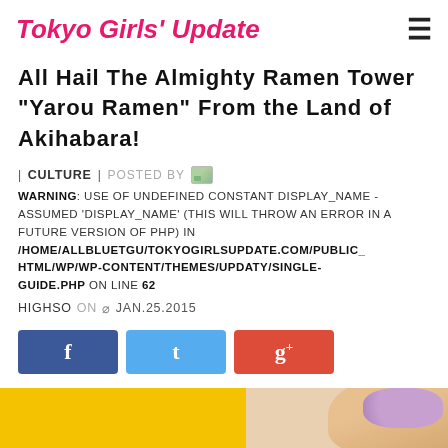Tokyo Girls' Update
All Hail The Almighty Ramen Tower "Yarou Ramen" From the Land of Akihabara!
| CULTURE | POSTED BY [image icon]
WARNING: USE OF UNDEFINED CONSTANT DISPLAY_NAME - ASSUMED 'DISPLAY_NAME' (THIS WILL THROW AN ERROR IN A FUTURE VERSION OF PHP) IN /HOME/ALLBLUETGU/TOKYOGIRLSUPDATE.COM/PUBLIC_HTML/WP/WP-CONTENT/THEMES/UPDATY/SINGLE-GUIDE.PHP ON LINE 62
HIGHSO ON Ø JAN.25.2015
[Figure (other): Social sharing buttons: Facebook (blue), Twitter (light blue), Google+ (red)]
[Figure (photo): Partial image at bottom showing yellow background and a girl with a floral hair accessory]